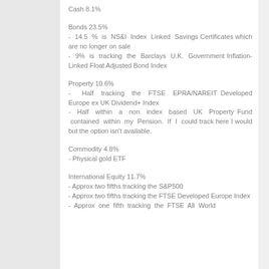Cash 8.1%
Bonds 23.5%
- 14.5 % is NS&I Index Linked Savings Certificates which are no longer on sale
- 9% is tracking the Barclays U.K. Government Inflation-Linked Float Adjusted Bond Index
Property 10.6%
- Half tracking the FTSE EPRA/NAREIT Developed Europe ex UK Dividend+ Index
- Half within a non index based UK Property Fund contained within my Pension. If I could track here I would but the option isn't available.
Commodity 4.8%
- Physical gold ETF
International Equity 11.7%
- Approx two fifths tracking the S&P500
- Approx two fifths tracking the FTSE Developed Europe Index
- Approx one fifth tracking the FTSE All World